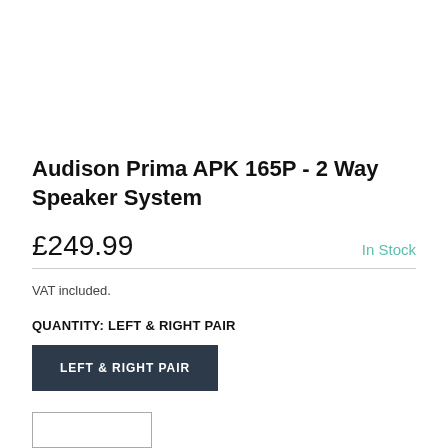Audison Prima APK 165P - 2 Way Speaker System
£249.99
In Stock
VAT included.
QUANTITY: LEFT & RIGHT PAIR
LEFT & RIGHT PAIR